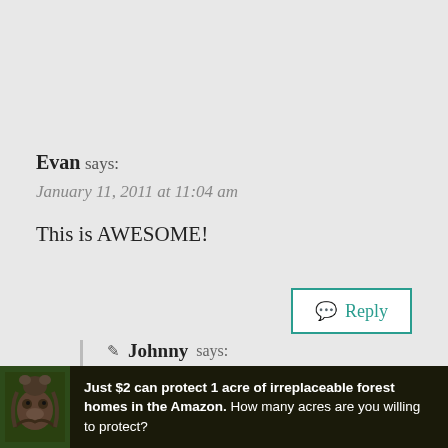Evan says:
January 11, 2011 at 11:04 am
This is AWESOME!
Reply
✎ Johnny says:
January 11, 2011 at 9:08 pm
so so so awesome!
[Figure (photo): Advertisement banner: dark forest background with sloth image. Text reads: Just $2 can protect 1 acre of irreplaceable forest homes in the Amazon. How many acres are you willing to protect?]